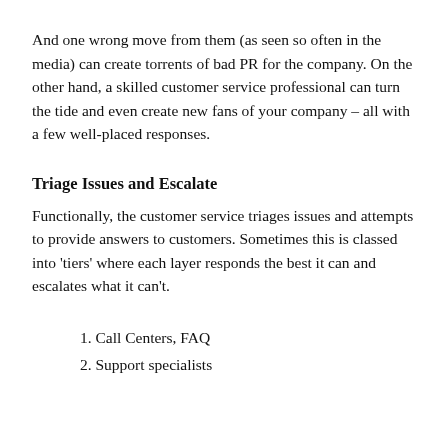And one wrong move from them (as seen so often in the media) can create torrents of bad PR for the company. On the other hand, a skilled customer service professional can turn the tide and even create new fans of your company – all with a few well-placed responses.
Triage Issues and Escalate
Functionally, the customer service triages issues and attempts to provide answers to customers. Sometimes this is classed into 'tiers' where each layer responds the best it can and escalates what it can't.
1. Call Centers, FAQ
2. Support specialists